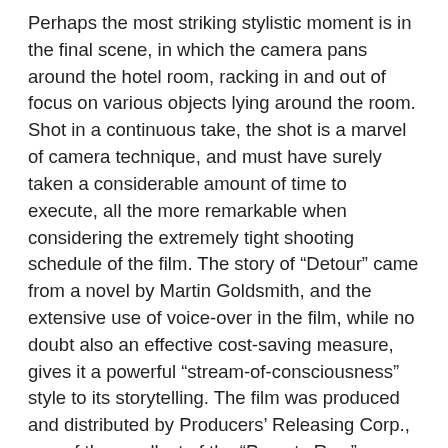Perhaps the most striking stylistic moment is in the final scene, in which the camera pans around the hotel room, racking in and out of focus on various objects lying around the room. Shot in a continuous take, the shot is a marvel of camera technique, and must have surely taken a considerable amount of time to execute, all the more remarkable when considering the extremely tight shooting schedule of the film. The story of “Detour” came from a novel by Martin Goldsmith, and the extensive use of voice-over in the film, while no doubt also an effective cost-saving measure, gives it a powerful “stream-of-consciousness” style to its storytelling. The film was produced and distributed by Producers’ Releasing Corp., one of the smallest of the “Poverty Row” studios that could be found in the underbelly of Hollywood, co-existing with the major studios during the studio era. The gritty, cheap and low-rent atmosphere suits the film perfectly.
“Detour” is perhaps the most engulfing cinematic nightmare ever captured on film. From the film’s opening titles, which roll over a long tracking shot of a lonely, deserted highway at night, to the film’s end, its protagonist is a lost soul, doomed